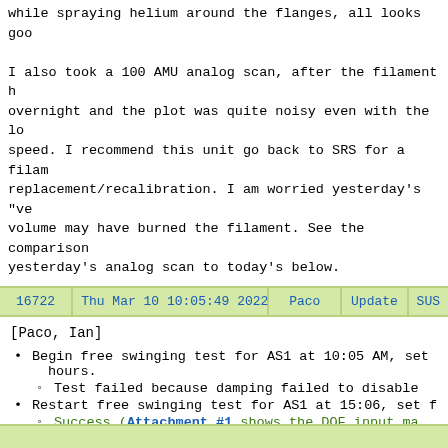while spraying helium around the flanges, all looks goo... I also took a 100 AMU analog scan, after the filament h... overnight and the plot was quite noisy even with the lo... speed. I recommend this unit go back to SRS for a filam... replacement/recalibration. I am worried yesterday's "ve... volume may have burned the filament. See the comparison... yesterday's analog scan to today's below.
| 16722 | Thu Mar 10 10:05:49 2022 | Paco | Update | SUS |
| --- | --- | --- | --- | --- |
[Paco, Ian]
Begin free swinging test for AS1 at 10:05 AM, set ... hours.
Test failed because damping failed to disable...
Restart free swinging test for AS1 at 15:06, set f...
Success (Attachment #1 shows the DOF input ma... diagonalization effect)
Of slight concern is the side to other degrees of freedom cou... is definitely an improvement from last time.